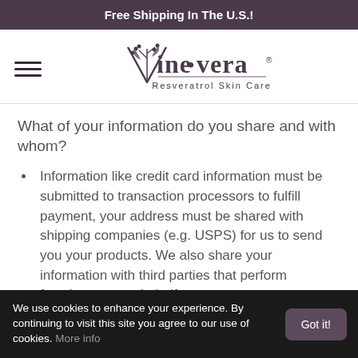Free Shipping In The U.S.!
[Figure (logo): Vine Vera Resveratrol Skin Care logo with decorative vine/leaf icon]
What of your information do you share and with whom?
Information like credit card information must be submitted to transaction processors to fulfill payment, your address must be shared with shipping companies (e.g. USPS) for us to send you your products. We also share your information with third parties that perform functions on our behalf
We use cookies to enhance your experience. By continuing to visit this site you agree to our use of cookies. More info